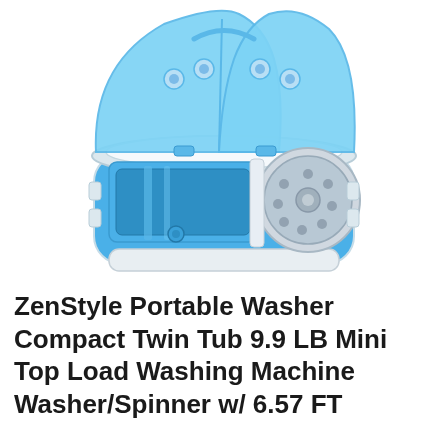[Figure (photo): A ZenStyle portable compact twin tub washing machine with blue transparent lid open, showing two tubs — a larger washing tub on the left and a smaller spinner/dryer drum on the right. The unit has a white body with blue interior and transparent blue lid.]
ZenStyle Portable Washer Compact Twin Tub 9.9 LB Mini Top Load Washing Machine Washer/Spinner w/ 6.57 FT